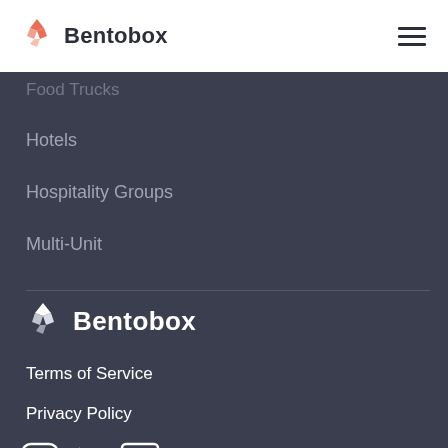Bentobox
Food Trucks
Hotels
Hospitality Groups
Multi-Unit
[Figure (logo): Bentobox white logo in footer]
Terms of Service
Privacy Policy
[Figure (illustration): Social media icons: Instagram, Twitter, LinkedIn, Facebook]